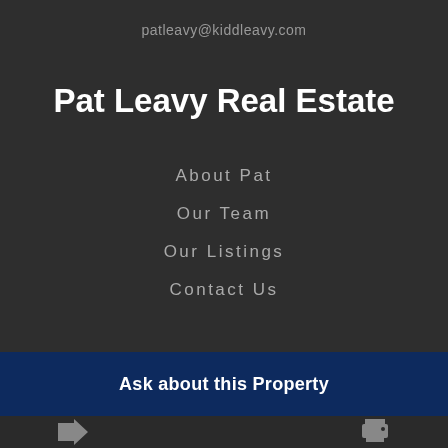patleavy@kiddleavy.com
Pat Leavy Real Estate
About Pat
Our Team
Our Listings
Contact Us
Ask about this Property
[Figure (illustration): Share icon (forward arrow) and print icon at the bottom of the page]